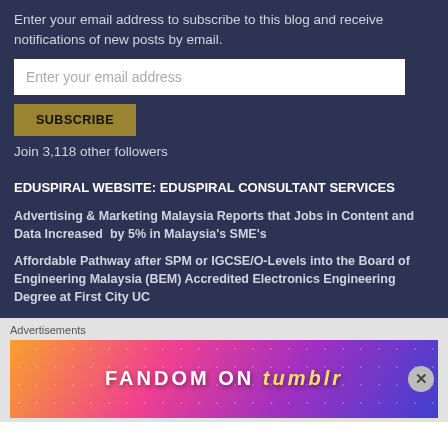Enter your email address to subscribe to this blog and receive notifications of new posts by email.
Enter your email address
SUBSCRIBE
Join 3,118 other followers
EDUSPIRAL WEBSITE: EDUSPIRAL CONSULTANT SERVICES
Advertising & Marketing Malaysia Reports that Jobs in Content and Data Increased by 5% in Malaysia's SME's
Affordable Pathway after SPM or IGCSE/O-Levels into the Board of Engineering Malaysia (BEM) Accredited Electronics Engineering Degree at First City UC
Advertisements
[Figure (illustration): Fandom on Tumblr advertisement banner with colorful gradient background]